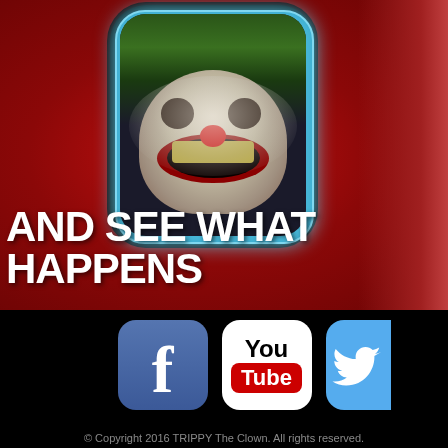[Figure (photo): Horror/meme image with a screaming clown face visible through a rounded rectangular frame/window on a red background, partial view of a person on the right edge]
AND SEE WHAT HAPPENS
[Figure (logo): Facebook logo icon - blue rounded square with white 'f']
[Figure (logo): YouTube logo icon - white rounded square with 'You' in black and 'Tube' in white on red]
[Figure (logo): Twitter logo icon - light blue rounded square with white bird (partially visible, cropped at right edge)]
© Copyright 2016 TRIPPY The Clown. All rights reserved.